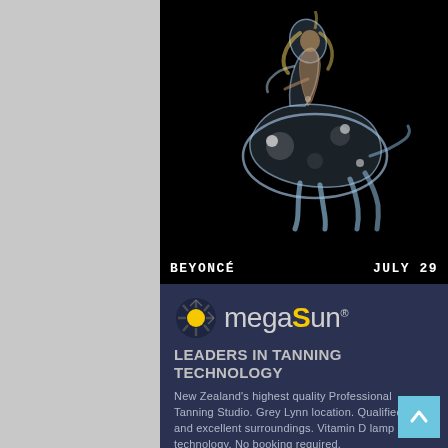[Figure (photo): A woman with long blonde hair riding a glowing translucent glass-like horse sculpture, set against a black background — Beyoncé Renaissance album art style image.]
BEYONCÉ    JULY 29
[Figure (logo): megaSun logo — circular sunburst icon in yellow/grey with dark diagonal lines, followed by the text 'megaSun' in grey with the letter S highlighted in yellow, and a registered trademark symbol.]
LEADERS IN TANNING TECHNOLOGY
New Zealand's highest quality Professional Tanning Studio. Grey Lynn location. Qualified staff and excellent surroundings. Vitamin D lamp technology. No booking required.